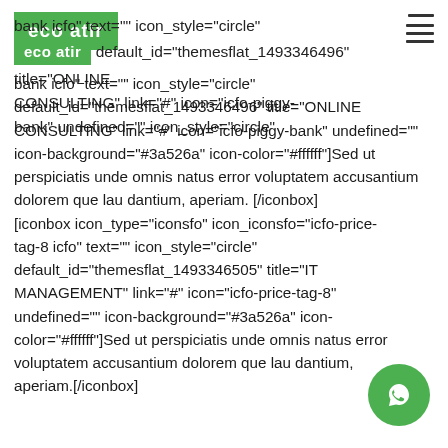eco atir [logo] [hamburger menu]
bank icfo" text="" icon_style="circle" default_id="themesflat_1493346496" title="ONLINE CONSULTING" link="#" icon="icfo-piggy-bank" undefined="" icon-background="#3a526a" icon-color="#ffffff"]Sed ut perspiciatis unde omnis natus error voluptatem accusantium dolorem que lau dantium, aperiam.[/iconbox]
[iconbox icon_type="iconsfo" icon_iconsfo="icfo-price-tag-8 icfo" text="" icon_style="circle" default_id="themesflat_1493346505" title="IT MANAGEMENT" link="#" icon="icfo-price-tag-8" undefined="" icon-background="#3a526a" icon-color="#ffffff"]Sed ut perspiciatis unde omnis natus error voluptatem accusantium dolorem que lau dantium, aperiam.[/iconbox]
[Figure (other): WhatsApp floating button (green circle with phone handset icon) in the bottom-right corner]